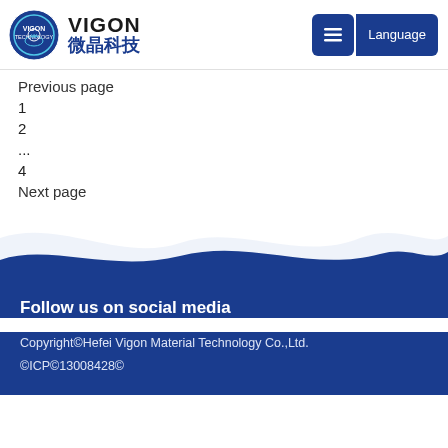VIGON 微晶科技 | Language
Previous page
1
2
...
4
Next page
[Figure (illustration): Wave shape separator in blue and white transitioning to dark blue footer background]
Follow us on social media
Copyright©Hefei Vigon Material Technology Co.,Ltd. ©ICP©13008428©